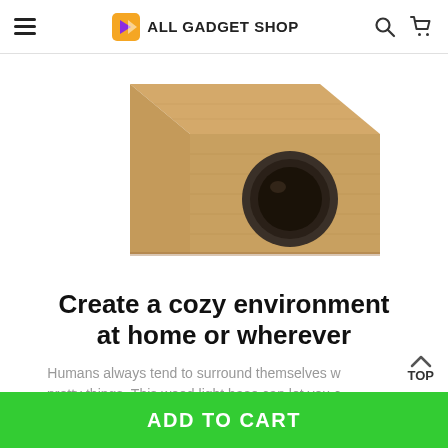ALL GADGET SHOP
[Figure (photo): A wooden cube-shaped light base/speaker with a circular hole on the front face, photographed on a white background.]
Create a cozy environment at home or wherever
Humans always tend to surround themselves w pretty things. This wood light base can let you c